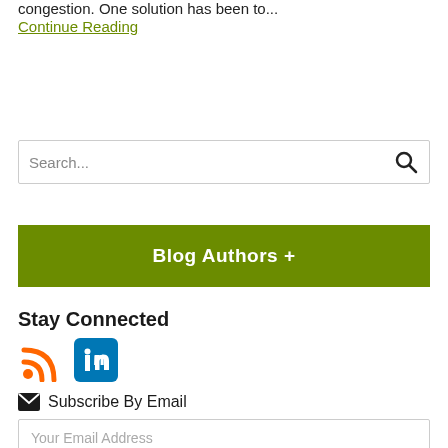congestion. One solution has been to...
Continue Reading
Search...
Blog Authors +
Stay Connected
Subscribe By Email
Your Email Address